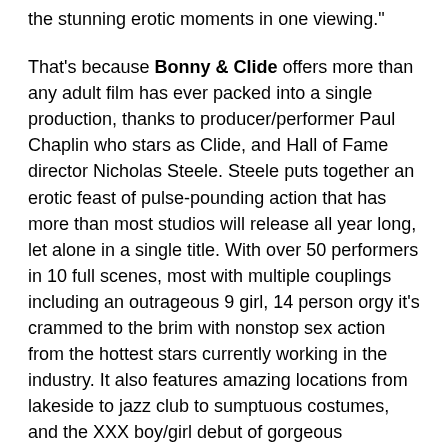the stunning erotic moments in one viewing."
That's because Bonny & Clide offers more than any adult film has ever packed into a single production, thanks to producer/performer Paul Chaplin who stars as Clide, and Hall of Fame director Nicholas Steele. Steele puts together an erotic feast of pulse-pounding action that has more than most studios will release all year long, let alone in a single title. With over 50 performers in 10 full scenes, most with multiple couplings including an outrageous 9 girl, 14 person orgy it's crammed to the brim with nonstop sex action from the hottest stars currently working in the industry. It also features amazing locations from lakeside to jazz club to sumptuous costumes, and the XXX boy/girl debut of gorgeous international glamour model – and Glambird – Natasha Marley who stars as Bonny.
The intensity of the heat grows with every scene, from the stylized office sexing of Bluebird contract beauty Madelyn